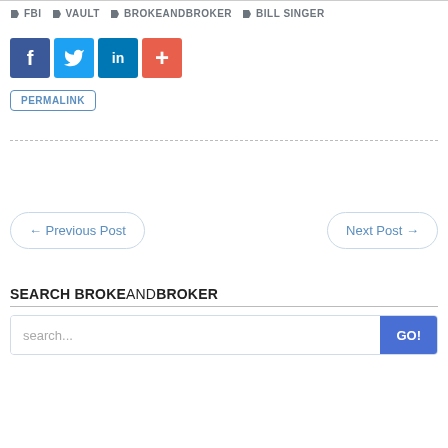FBI  VAULT  BROKEANDBROKER  BILL SINGER
[Figure (other): Social media share buttons: Facebook (blue, f), Twitter (light blue, bird), LinkedIn (dark blue, in), and a plus/add button (orange-red)]
PERMALINK
← Previous Post
Next Post →
SEARCH BROKEANDBROKER
search...  GO!